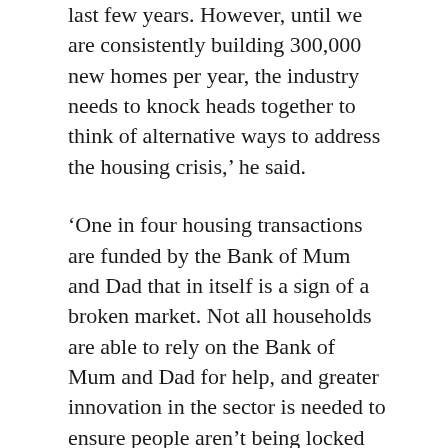last few years. However, until we are consistently building 300,000 new homes per year, the industry needs to knock heads together to think of alternative ways to address the housing crisis,' he said.
'One in four housing transactions are funded by the Bank of Mum and Dad that in itself is a sign of a broken market. Not all households are able to rely on the Bank of Mum and Dad for help, and greater innovation in the sector is needed to ensure people aren't being locked out of home ownership,' he pointed out.
'Whether that be creating more intergenerational mortgage products, reassessing eligibility criteria, or finding other forms of saving for a deposit; lenders, housing associations and the Government need to work together to ensure that all those